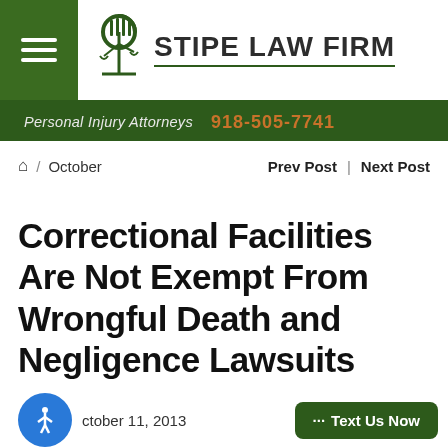STIPE LAW FIRM | Personal Injury Attorneys 918-505-7741
🏠 / October    Prev Post | Next Post
Correctional Facilities Are Not Exempt From Wrongful Death and Negligence Lawsuits
October 11, 2013